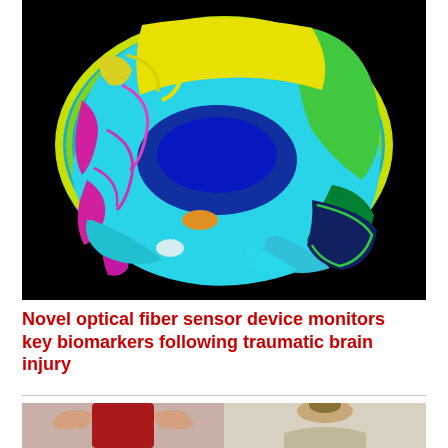[Figure (photo): False-color MRI sagittal cross-section of a human brain, showing vivid colors — cyan, blue, yellow, green, magenta, pink — on a black background, representing different tissue densities or functional regions.]
Novel optical fiber sensor device monitors key biomarkers following traumatic brain injury
[Figure (photo): Partial photo showing two people, one in a red top on the left and another with light hair on the right, cropped at the bottom of the page.]